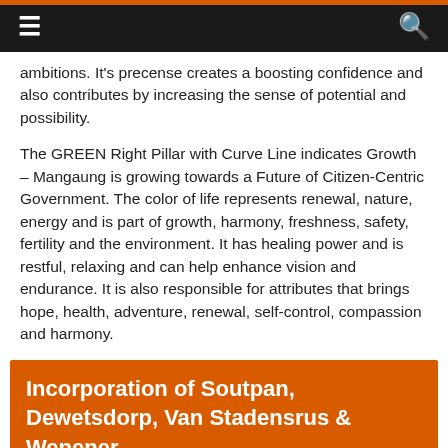≡  🔍
ambitions. It's precense creates a boosting confidence and also contributes by increasing the sense of potential and possibility.
The GREEN Right Pillar with Curve Line indicates Growth – Mangaung is growing towards a Future of Citizen-Centric Government. The color of life represents renewal, nature, energy and is part of growth, harmony, freshness, safety, fertility and the environment. It has healing power and is restful, relaxing and can help enhance vision and endurance. It is also responsible for attributes that brings hope, health, adventure, renewal, self-control, compassion and harmony.
Incorporation of Soutpan, Dewetsdorp, Van Stadensrus & Wepener
We now have a total of 7 Official Cities / Towns / Establishments in our Mangaung Metro Community and